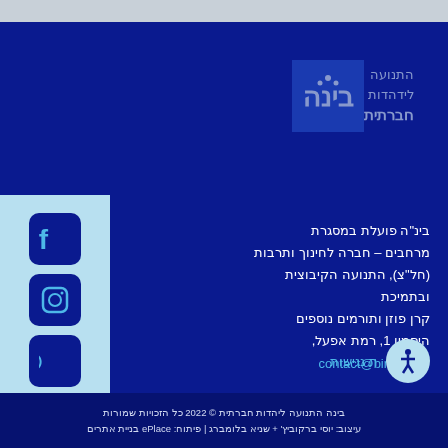[Figure (logo): Bina organization logo with Hebrew text התנועה לידהדות חברתית and stylized bina symbol]
[Figure (illustration): Social media sidebar with Facebook, Instagram, and email icons on light blue background]
בינ"ה פועלת במסגרת מרחבים – חברה לחינוך ותרבות (חל"צ), התנועה הקיבוצית ובתמיכת קרן פוזן ותורמים נוספים היסמין 1, רמת אפעל, contact@bina.org.il
ת נגישות
בינה התנועה ליהדות חברתית © 2022 כל הזכויות שמורות עיצוב: יוסי ברקוביץ' + שניא בלומברג | פיתוח: ePlace בניית אתרים